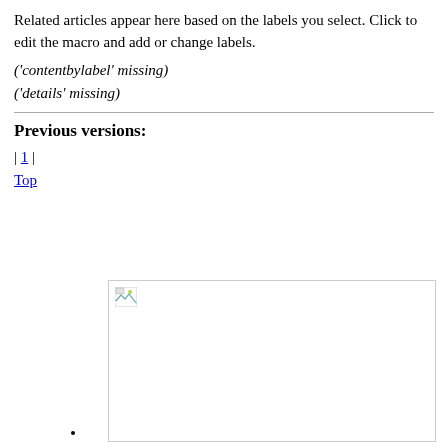Related articles appear here based on the labels you select. Click to edit the macro and add or change labels.
('contentbylabel' missing)
('details' missing)
Previous versions:
| 1 |
Top
[Figure (photo): Broken image placeholder with small icon in top-left corner of a white rectangle with border]